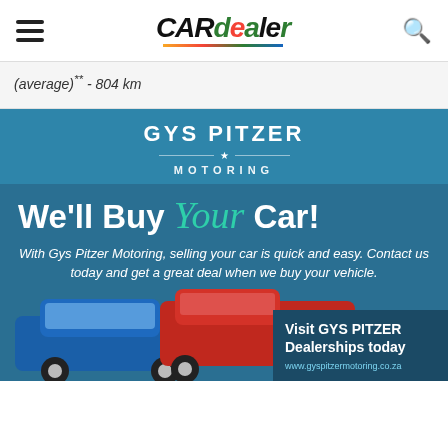CAR dealer
(average)** - 804 km
[Figure (illustration): Gys Pitzer Motoring advertisement. Blue background with white bold text 'GYS PITZER MOTORING' at top. Large headline 'We'll Buy Your Car!' with 'Your' in teal italic script. Body copy: 'With Gys Pitzer Motoring, selling your car is quick and easy. Contact us today and get a great deal when we buy your vehicle.' A blue hatchback and red pickup truck shown at bottom. Bottom right box reads 'Visit GYS PITZER Dealerships today' with website URL.]